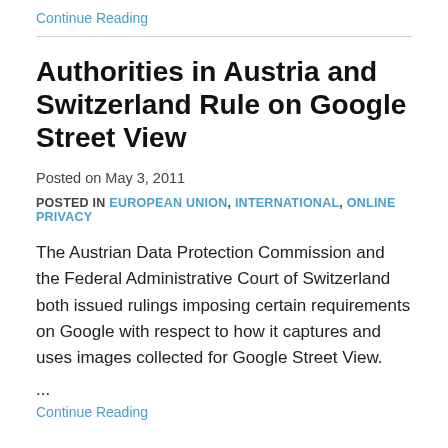Continue Reading
Authorities in Austria and Switzerland Rule on Google Street View
Posted on May 3, 2011
POSTED IN EUROPEAN UNION, INTERNATIONAL, ONLINE PRIVACY
The Austrian Data Protection Commission and the Federal Administrative Court of Switzerland both issued rulings imposing certain requirements on Google with respect to how it captures and uses images collected for Google Street View.
...
Continue Reading